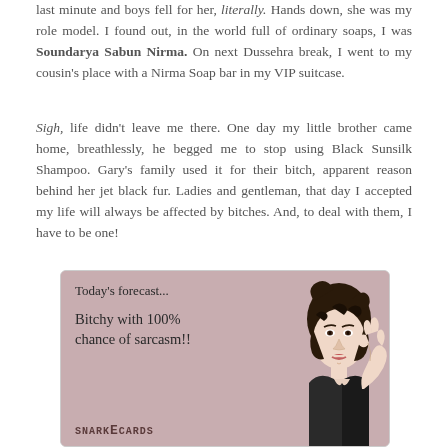last minute and boys fell for her, literally. Hands down, she was my role model. I found out, in the world full of ordinary soaps, I was Soundarya Sabun Nirma. On next Dussehra break, I went to my cousin's place with a Nirma Soap bar in my VIP suitcase.
Sigh, life didn't leave me there. One day my little brother came home, breathlessly, he begged me to stop using Black Sunsilk Shampoo. Gary's family used it for their bitch, apparent reason behind her jet black fur. Ladies and gentleman, that day I accepted my life will always be affected by bitches. And, to deal with them, I have to be one!
[Figure (illustration): An ecard-style illustration with a mauve/pink background showing a retro pop-art woman with her hand on her chin. Text reads 'Today's forecast... Bitchy with 100% chance of sarcasm!!' with 'SNARKECARDS' branding at the bottom left.]